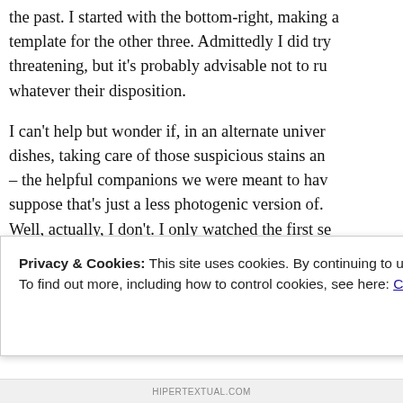the past. I started with the bottom-right, making a template for the other three. Admittedly I did try threatening, but it's probably advisable not to run whatever their disposition.
I can't help but wonder if, in an alternate universe, dishes, taking care of those suspicious stains and – the helpful companions we were meant to have suppose that's just a less photogenic version of. Well, actually, I don't. I only watched the first se maybe the States could've done with a few of the folks? Phew! It's been an exhausting week, a nai of people dancing in the streets say it all. I know lot of work to be done, but I'm happy and hopeful
Privacy & Cookies: This site uses cookies. By continuing to use this website, you agree to their use.
To find out more, including how to control cookies, see here: Cookie Policy
Close and accept